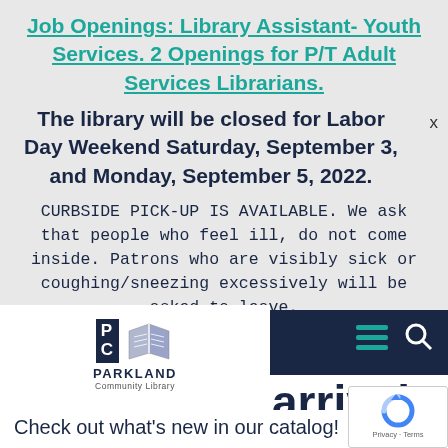Job Openings: Library Assistant- Youth Services. 2 Openings for P/T Adult Services Librarians.
The library will be closed for Labor Day Weekend Saturday, September 3, and Monday, September 5, 2022.
CURBSIDE PICK-UP IS AVAILABLE. We ask that people who feel ill, do not come inside. Patrons who are visibly sick or coughing/sneezing excessively will be asked to leave.
Thank you for your cooperation! Visit our Contact Page for our COVID-19 procedures.
[Figure (logo): Parkland Community Library logo with PC box and open book icon]
arrivals
Check out what's new in our catalog!
[Figure (other): reCAPTCHA badge with Privacy and Terms links]